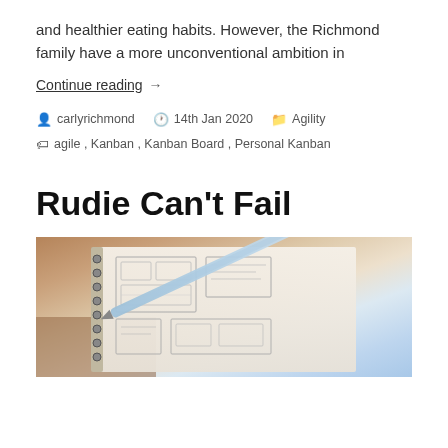and healthier eating habits. However, the Richmond family have a more unconventional ambition in
Continue reading →
carlyrichmond  14th Jan 2020  Agility  agile, Kanban, Kanban Board, Personal Kanban
Rudie Can't Fail
[Figure (photo): Photo of a spiral-bound notebook with wireframe sketches/diagrams, a blue pen resting on top, on a wooden surface.]